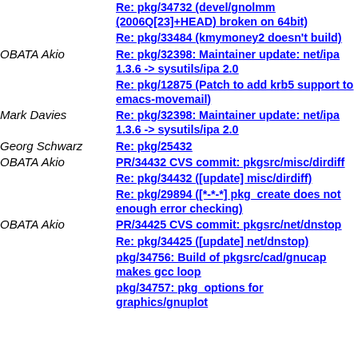Re: pkg/34732 (devel/gnolmm (2006Q[23]+HEAD) broken on 64bit)
Re: pkg/33484 (kmymoney2 doesn't build)
OBATA Akio
Re: pkg/32398: Maintainer update: net/ipa 1.3.6 -> sysutils/ipa 2.0
Re: pkg/12875 (Patch to add krb5 support to emacs-movemail)
Mark Davies
Re: pkg/32398: Maintainer update: net/ipa 1.3.6 -> sysutils/ipa 2.0
Georg Schwarz
Re: pkg/25432
OBATA Akio
PR/34432 CVS commit: pkgsrc/misc/dirdiff
Re: pkg/34432 ([update] misc/dirdiff)
Re: pkg/29894 ([*-*-*] pkg_create does not enough error checking)
OBATA Akio
PR/34425 CVS commit: pkgsrc/net/dnstop
Re: pkg/34425 ([update] net/dnstop)
pkg/34756: Build of pkgsrc/cad/gnucap makes gcc loop
pkg/34757: pkg_options for graphics/gnuplot